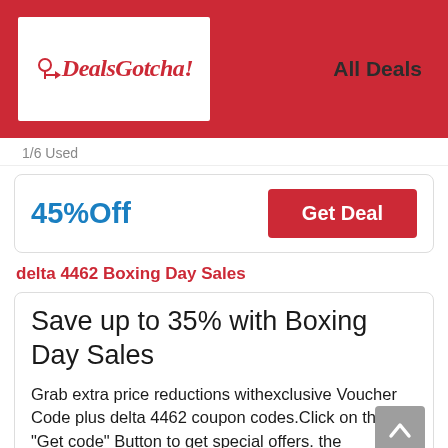[Figure (logo): DealsGotcha! logo — red script text on white background with a tag/arrow icon]
All Deals
1/6 Used
45%Off
Get Deal
delta 4462 Boxing Day Sales
Save up to 35% with Boxing Day Sales
Grab extra price reductions withexclusive Voucher Code plus delta 4462 coupon codes.Click on the "Get code" Button to get special offers. the